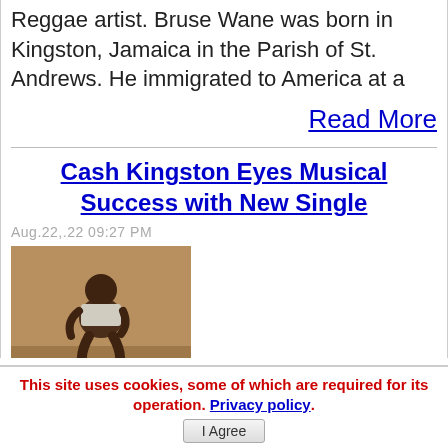Reggae artist. Bruse Wane was born in Kingston, Jamaica in the Parish of St. Andrews. He immigrated to America at a
Read More
Cash Kingston Eyes Musical Success with New Single
Aug.22,.22 09:27 PM
[Figure (photo): Photo of a man crouching, wearing a white tank top, against a tan/beige background.]
This site uses cookies, some of which are required for its operation. Privacy policy. I Agree